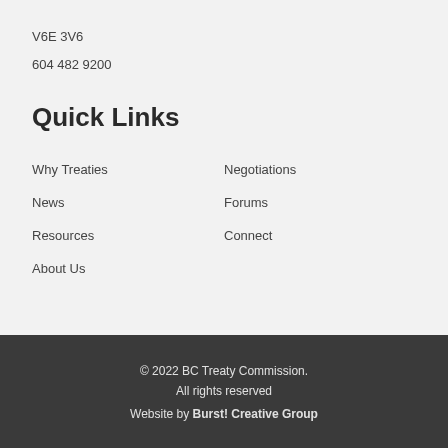V6E 3V6
604 482 9200
Quick Links
Why Treaties
Negotiations
News
Forums
Resources
Connect
About Us
© 2022 BC Treaty Commission. All rights reserved
Website by Burst! Creative Group